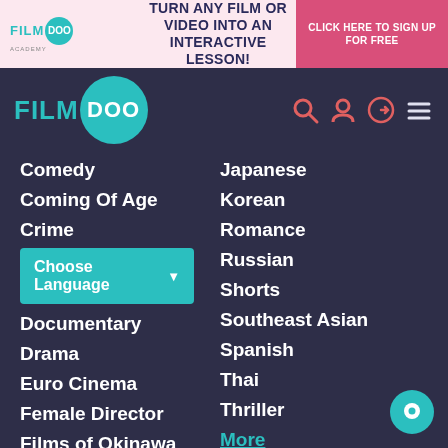TURN ANY FILM OR VIDEO INTO AN INTERACTIVE LESSON! | CLICK HERE TO SIGN UP FOR FREE
[Figure (logo): FilmDoo Academy logo with teal circle]
[Figure (screenshot): Navigation icons: search, user, login, menu]
Comedy
Japanese
Coming Of Age
Korean
Crime
Romance
Choose Language
Russian
Documentary
Shorts
Drama
Southeast Asian
Euro Cinema
Spanish
Female Director
Thai
Films of Okinawa
Thriller
French
More